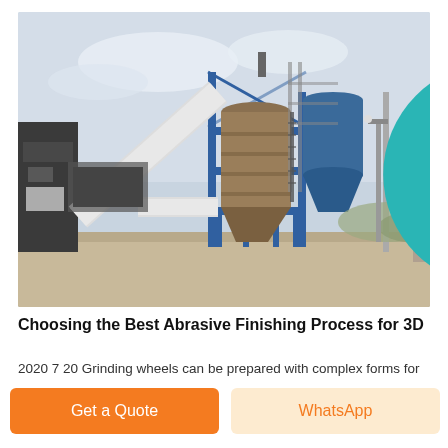[Figure (photo): Industrial facility with large blue steel structure, cylindrical silos, pipes, scaffolding, and dust-collection equipment. Outdoor setting with a cloudy sky and an arid landscape background.]
Choosing the Best Abrasive Finishing Process for 3D
2020 7 20 Grinding wheels can be prepared with complex forms for